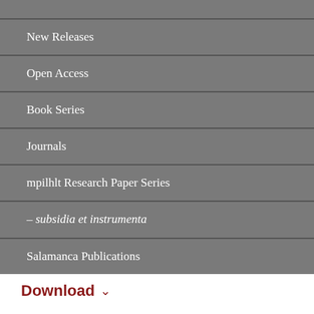New Releases
Open Access
Book Series
Journals
mpilhlt Research Paper Series
– subsidia et instrumenta
Salamanca Publications
Download